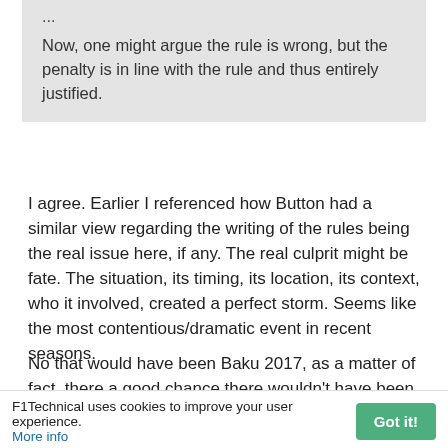...
Now, one might argue the rule is wrong, but the penalty is in line with the rule and thus entirely justified.
I agree. Earlier I referenced how Button had a similar view regarding the writing of the rules being the real issue here, if any. The real culprit might be fate. The situation, its timing, its location, its context, who it involved, created a perfect storm. Seems like the most contentious/dramatic event in recent seasons.
No that would have been Baku 2017, as a matter of fact, there a good chance there wouldn't have been Canada 2019 incident if the proper sanctions/penalties had been issued against Vettel then. The stewards then decided not to "run the show" sound familiar? The right decision was...
F1Technical uses cookies to improve your user experience.
More info
Got it!